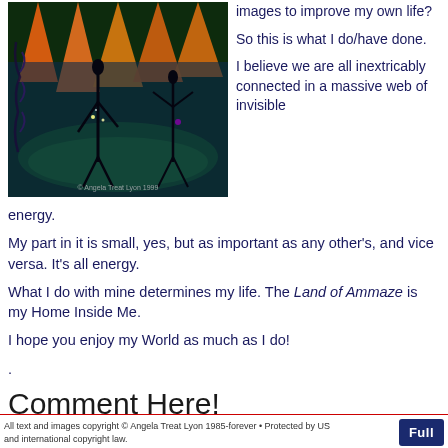[Figure (illustration): Colorful digital artwork showing stylized figures/insects with orange flame-like shapes against a green and dark background, copyright Angela Treat Lyon 1999]
images to improve my own life?

So this is what I do/have done.

I believe we are all inextricably connected in a massive web of invisible energy.
My part in it is small, yes, but as important as any other's, and vice versa. It's all energy.
What I do with mine determines my life. The Land of Ammaze is my Home Inside Me.
I hope you enjoy my World as much as I do!
.
Comment Here!
All text and images copyright © Angela Treat Lyon 1985-forever • Protected by US and international copyright law.